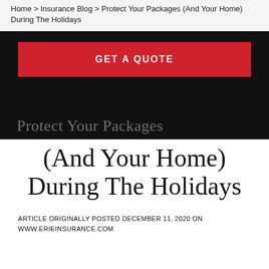Home > Insurance Blog > Protect Your Packages (And Your Home) During The Holidays
[Figure (screenshot): Black banner with a red 'GET A QUOTE' button and 'Protect Your Packages' text overlay in grey]
(And Your Home) During The Holidays
ARTICLE ORIGINALLY POSTED DECEMBER 11, 2020 ON WWW.ERIEINSURANCE.COM